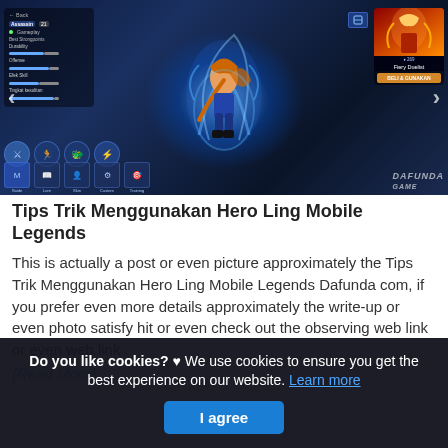[Figure (screenshot): Mobile Legends game screenshot showing hero Ling character selection screen with blue glowing energy effects, left stats panel, right hero card with 'Fiery Duelist' label and 'BELI & GUNAKAN' button, navigation arrows, bottom icons for Guide, Lore, Skin, Custom, Training, and DAFUNDA watermark]
Tips Trik Menggunakan Hero Ling Mobile Legends
This is actually a post or even picture approximately the Tips Trik Menggunakan Hero Ling Mobile Legends Dafunda com, if you prefer even more details approximately the write-up or even photo satisfy hit or even check out the observing web link or even web link .
{Read More}
Do you like cookies? ♥ We use cookies to ensure you get the best experience on our website. Learn more
I agree